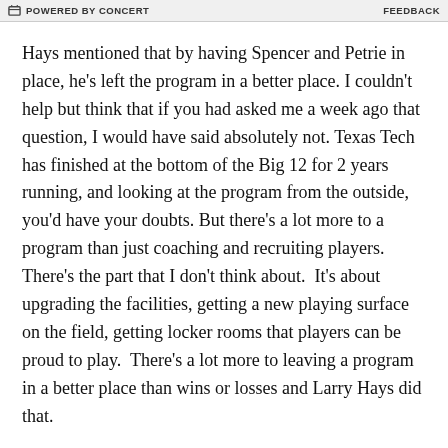POWERED BY CONCERT   FEEDBACK
Hays mentioned that by having Spencer and Petrie in place, he's left the program in a better place. I couldn't help but think that if you had asked me a week ago that question, I would have said absolutely not. Texas Tech has finished at the bottom of the Big 12 for 2 years running, and looking at the program from the outside, you'd have your doubts. But there's a lot more to a program than just coaching and recruiting players. There's the part that I don't think about.  It's about upgrading the facilities, getting a new playing surface on the field, getting locker rooms that players can be proud to play.  There's a lot more to leaving a program in a better place than wins or losses and Larry Hays did that.
So, a huge thank you to Larry Hays. Thank you for all